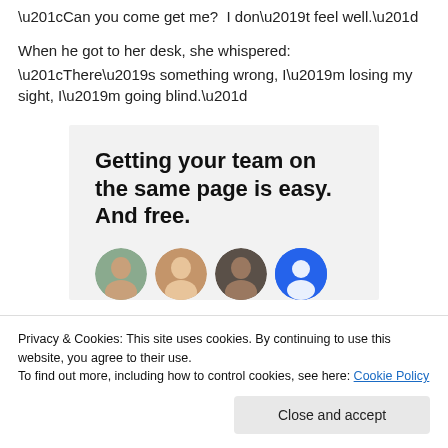“Can you come get me?  I don’t feel well.”
When he got to her desk, she whispered:
“There’s something wrong, I’m losing my sight, I’m going blind.”
[Figure (infographic): Advertisement box with gray background showing bold text: 'Getting your team on the same page is easy. And free.' and a row of circular profile avatars below including three photographic faces and one blue circle with a person icon.]
Privacy & Cookies: This site uses cookies. By continuing to use this website, you agree to their use.
To find out more, including how to control cookies, see here: Cookie Policy